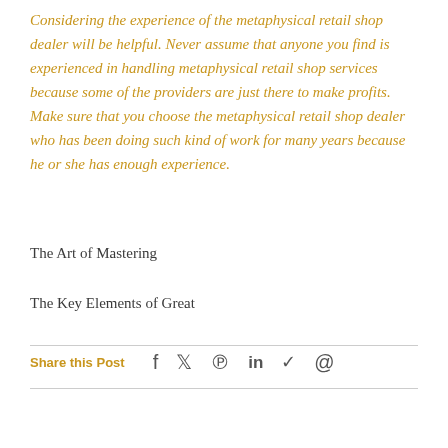Considering the experience of the metaphysical retail shop dealer will be helpful. Never assume that anyone you find is experienced in handling metaphysical retail shop services because some of the providers are just there to make profits. Make sure that you choose the metaphysical retail shop dealer who has been doing such kind of work for many years because he or she has enough experience.
The Art of Mastering
The Key Elements of Great
Share this Post